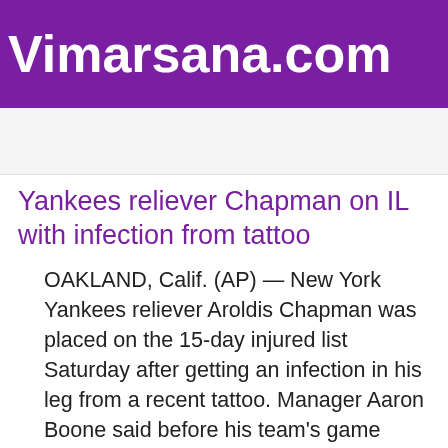Vimarsana.com
Yankees reliever Chapman on IL with infection from tattoo
OAKLAND, Calif. (AP) — New York Yankees reliever Aroldis Chapman was placed on the 15-day injured list Saturday after getting an infection in his leg from a recent tattoo. Manager Aaron Boone said before his team's game against the Oakland Athletics that Chapman felt irritation in the leg on Thursday